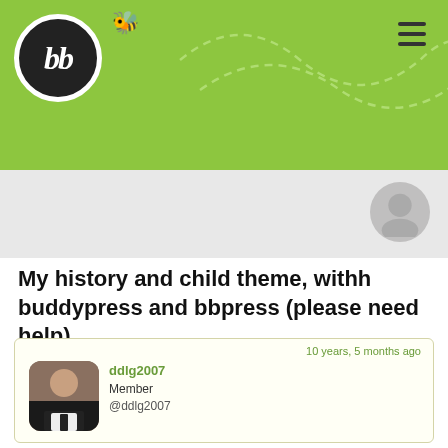[Figure (logo): bbPress logo - black circle with white italic 'bb' text, green banner header with dashed decorative path and bee emoji]
My history and child theme, withh buddypress and bbpress (please need help)
10 years, 5 months ago
ddlg2007
Member
@ddlg2007
Well I come here 1 more time because I really can not do more and I need a little help please.

I am using a child theme called Arras Classical Gamer. I test many times and try a lot of tutorial but is really impossible fix problem with bbpress.

You can see my website here http://www.site.teamcyanide.eu working perfectly with buddypress and pluging like BuddyPress Template Pack.